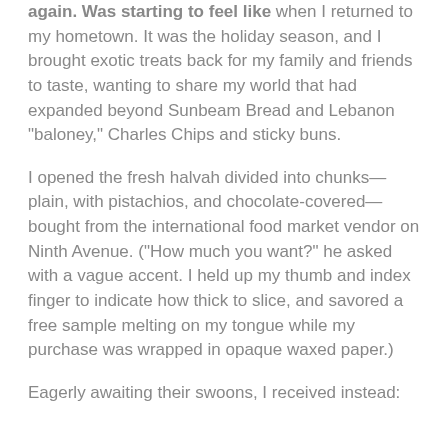again. Was starting to feel like when I returned to my hometown. It was the holiday season, and I brought exotic treats back for my family and friends to taste, wanting to share my world that had expanded beyond Sunbeam Bread and Lebanon "baloney," Charles Chips and sticky buns.
I opened the fresh halvah divided into chunks—plain, with pistachios, and chocolate-covered—bought from the international food market vendor on Ninth Avenue. ("How much you want?" he asked with a vague accent. I held up my thumb and index finger to indicate how thick to slice, and savored a free sample melting on my tongue while my purchase was wrapped in opaque waxed paper.)
Eagerly awaiting their swoons, I received instead: